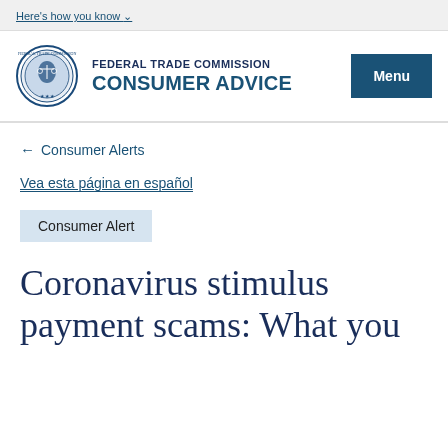Here's how you know
[Figure (logo): Federal Trade Commission seal/logo circular emblem]
FEDERAL TRADE COMMISSION CONSUMER ADVICE Menu
← Consumer Alerts
Vea esta página en español
Consumer Alert
Coronavirus stimulus payment scams: What you